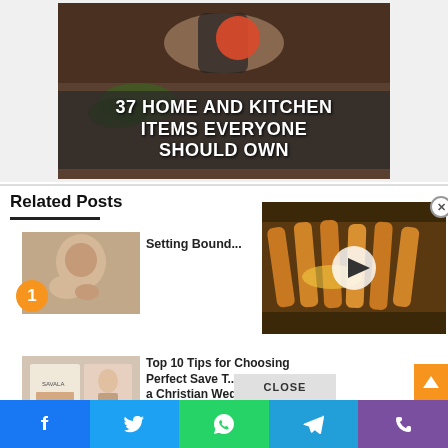[Figure (photo): Banner image showing hands using a kitchen gadget with text overlay '37 HOME AND KITCHEN ITEMS EVERYONE SHOULD OWN']
Related Posts
[Figure (photo): Thumbnail of mother holding baby for post 1: Setting Bounds...]
Setting Bound...
[Figure (photo): Video popup showing cheesy bread/food with play button overlay]
[Figure (photo): Thumbnail of save-the-date wedding product for post 2]
Top 10 Tips for Choosing Perfect Save T... Date for a Christian Wedding
[Figure (screenshot): Social share buttons bar: Facebook, Twitter, WhatsApp, Telegram, Phone]